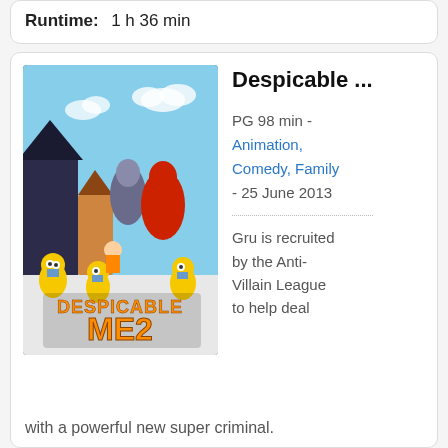Runtime:   1 h 36 min
[Figure (illustration): Despicable Me 2 movie poster showing animated characters including Gru, minions, and villains against a suburban backdrop with the title 'Despicable Me 2' in large orange letters]
Despicable ...
PG 98 min - Animation, Comedy, Family - 25 June 2013
Gru is recruited by the Anti-Villain League to help deal with a powerful new super criminal.